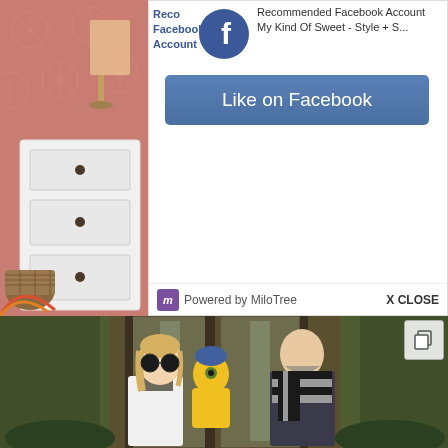[Figure (photo): Bedroom interior with pink starburst wallpaper, white chest of drawers with dark knobs, lamp with pink shade, wicker basket, and a small rainbow decoration visible on the left side]
[Figure (screenshot): Facebook widget popup showing 'Recommended Facebook Account' text, Facebook logo, page name 'My Kind Of Sweet - Style + S...', a 'Like on Facebook' blue button, and 'Powered by MiloTree' footer with 'X CLOSE' option]
[Figure (photo): Family Halloween photo showing a woman dressed as a scientist/Gru with large round dark sunglasses and white lab coat, holding a baby dressed as a Minion in yellow outfit and Minion hat, standing next to a bearded man wearing a black and gray striped scarf, in front of a building with glass doors]